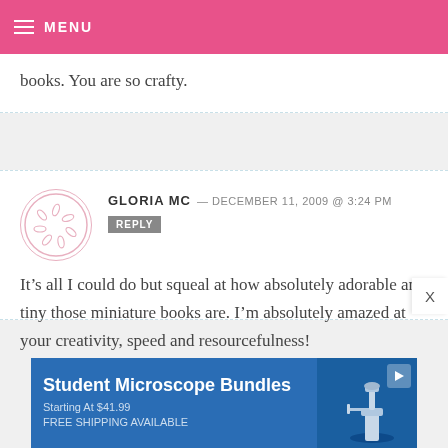MENU
books. You are so crafty.
GLORIA MC — DECEMBER 11, 2009 @ 3:24 PM
REPLY
It’s all I could do but squeal at how absolutely adorable and tiny those miniature books are. I’m absolutely amazed at your creativity, speed and resourcefulness!
[Figure (illustration): Circular avatar placeholder with pink border and small decorative marks inside]
Student Microscope Bundles
Starting At $41.99
FREE SHIPPING AVAILABLE